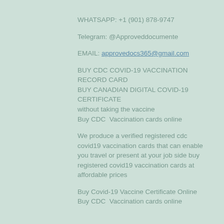WHATSAPP: +1 (901) 878-9747
Telegram: @Approveddocumente
EMAIL: approvedocs365@gmail.com
BUY CDC COVID-19 VACCINATION RECORD CARD
BUY CANADIAN DIGITAL COVID-19 CERTIFICATE
without taking the vaccine
Buy CDC  Vaccination cards online
We produce a verified registered cdc covid19 vaccination cards that can enable you travel or present at your job side buy registered covid19 vaccination cards at affordable prices
Buy Covid-19 Vaccine Certificate Online
Buy CDC  Vaccination cards online